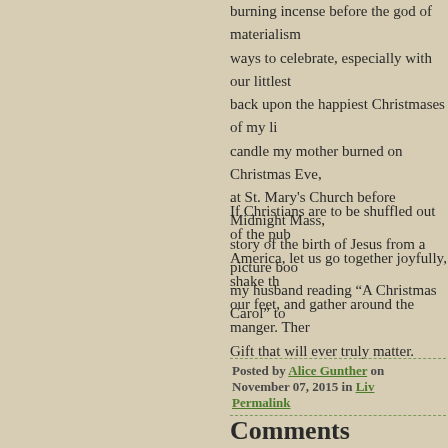burning incense before the god of materialism ways to celebrate, especially with our littlest back upon the happiest Christmases of my li candle my mother burned on Christmas Eve, at St. Mary's Church before Midnight Mass, story of the birth of Jesus from a picture boo my husband reading “A Christmas Carol” to
If Christians are to be shuffled out of the pub America, let us go together joyfully, shake th our feet, and gather around the manger. The Gift that will ever truly matter.
Posted by Alice Gunther on November 07, 2015 in Liv Permalink
Comments
Amen Alice! Could never have put it more p
Posted by: Susan Crimi | November 07, 2015 at 06:49
This is a really nice post. We’ve kind of don